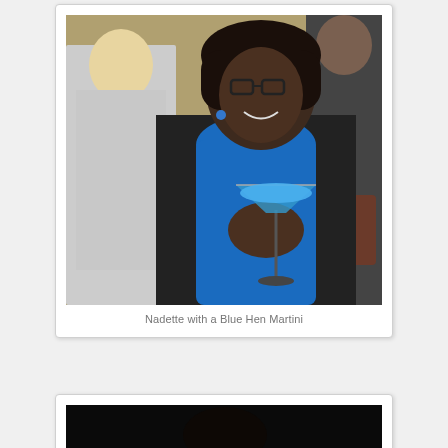[Figure (photo): A woman wearing glasses, dreadlocks, a bright blue scarf, and a dark top, smiling and holding a blue martini glass (Blue Hen Martini) at what appears to be a social gathering or party. Other people are visible in the background.]
Nadette with a Blue Hen Martini
[Figure (photo): A person smiling at the camera in a dark outdoor nighttime setting with some lights visible in the background.]